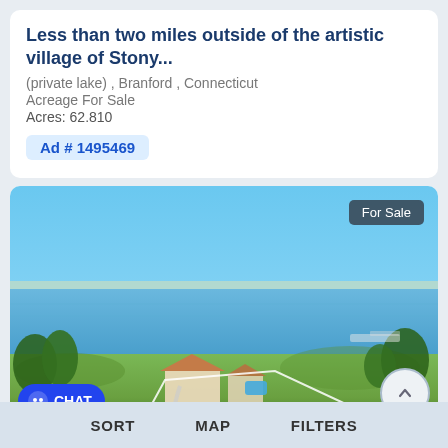Less than two miles outside of the artistic village of Stony...
(private lake) , Branford , Connecticut
Acreage For Sale
Acres: 62.810
Ad # 1495469
[Figure (photo): Aerial waterfront property photo showing coastal view with blue water, green lawns, and house with pool. 'For Sale' badge in upper right. Chat button in lower left.]
SORT   MAP   FILTERS